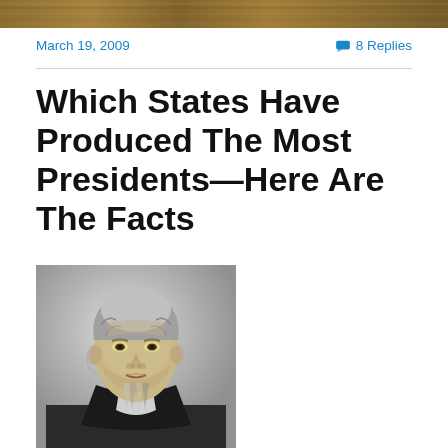[Figure (photo): Decorative banner header with golden-brown textured pattern at top of page]
March 19, 2009
8 Replies
Which States Have Produced The Most Presidents—Here Are The Facts
[Figure (photo): Black and white portrait photograph of a man in 19th century attire with a bow tie and dark coat, believed to be a U.S. President]